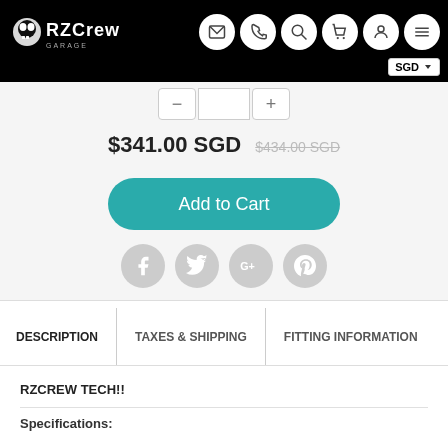[Figure (logo): RZCrew Garage logo — skull icon with RZCrew text on black header background]
[Figure (infographic): Navigation header icons: email, phone, search, cart, account, menu — white circles on black background. SGD currency dropdown.]
$341.00 SGD  $434.00 SGD (strikethrough)
Add to Cart
[Figure (infographic): Social share icons: Facebook, Twitter, Google+, Pinterest — grey circles]
DESCRIPTION | TAXES & SHIPPING | FITTING INFORMATION
RZCREW TECH!!
Specifications: